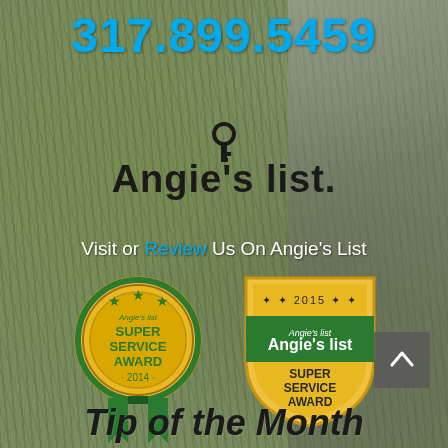317.899.5459
[Figure (logo): Angie's List logo with key icon in black text]
Visit or Review Us On Angie's List
[Figure (illustration): Angie's List Super Service Award 2014 gold medal badge with green ribbon]
[Figure (illustration): Angie's List Super Service Award 2015 gold shield badge with green banner]
Tip of the Month